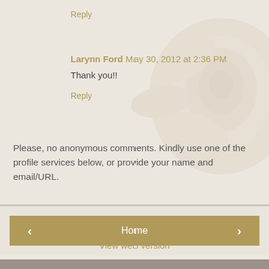Reply
Larynn Ford  May 30, 2012 at 2:36 PM
Thank you!!
Reply
Please, no anonymous comments. Kindly use one of the profile services below, or provide your name and email/URL.
< Home > View web version